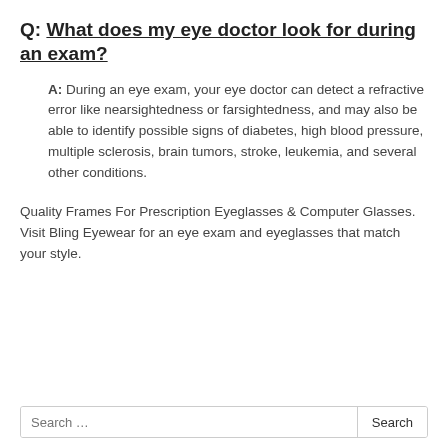Q: What does my eye doctor look for during an exam?
A: During an eye exam, your eye doctor can detect a refractive error like nearsightedness or farsightedness, and may also be able to identify possible signs of diabetes, high blood pressure, multiple sclerosis, brain tumors, stroke, leukemia, and several other conditions.
Quality Frames For Prescription Eyeglasses & Computer Glasses. Visit Bling Eyewear for an eye exam and eyeglasses that match your style.